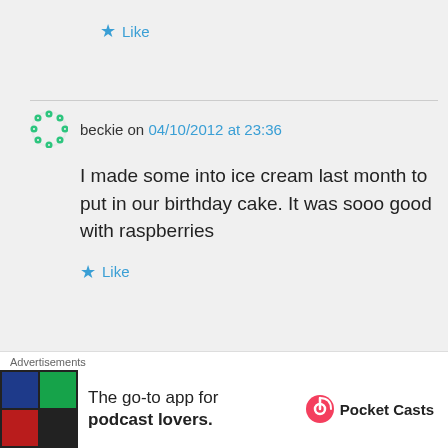★ Like
beckie on 04/10/2012 at 23:36
I made some into ice cream last month to put in our birthday cake. It was sooo good with raspberries
★ Like
Karen Chatham on 10/23/2012 at
Advertisements
[Figure (other): Pocket Casts advertisement banner - The go-to app for podcast lovers.]